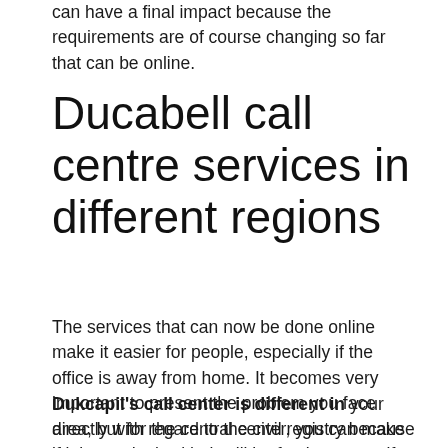can have a final impact because the requirements are of course changing so far that can be online.
Ducabell call centre services in different regions
The services that can now be done online make it easier for people, especially if the office is away from home. It becomes very important to present the problem you face directly with regard to the civil registry because if it is not dealt with, it will be fatal to yourself.
Dukcapil's call center is different in your area, but for the central center, you can make the proposal there to be distributed in your regional office. However, if that's not very important, you should ask at the sub-district office first. Then, if you can't, you can file your complaint on dukcapil's central office number.